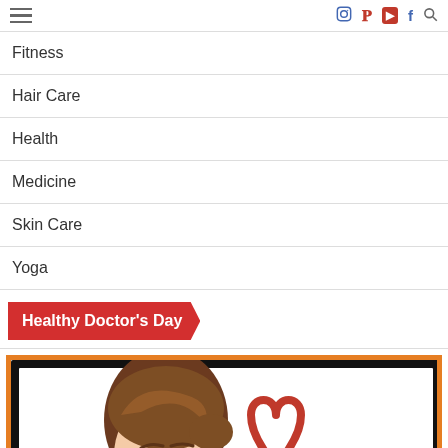Navigation bar with hamburger menu and social icons
Fitness
Hair Care
Health
Medicine
Skin Care
Yoga
Healthy Doctor's Day
[Figure (illustration): Cartoon illustration of a doctor with brown hair and a red heart symbol, inside an orange-bordered frame]